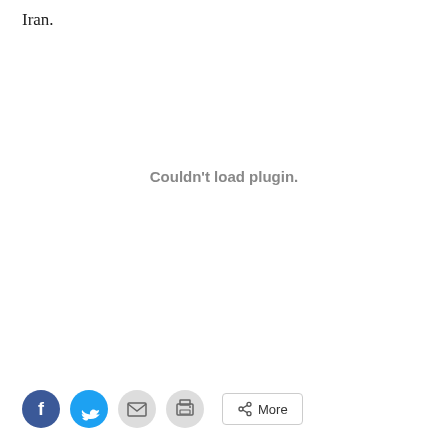Iran.
Couldn't load plugin.
[Figure (screenshot): Print button with printer icon]
[Figure (screenshot): Social sharing bar with Facebook, Twitter, email, print icons and More button]